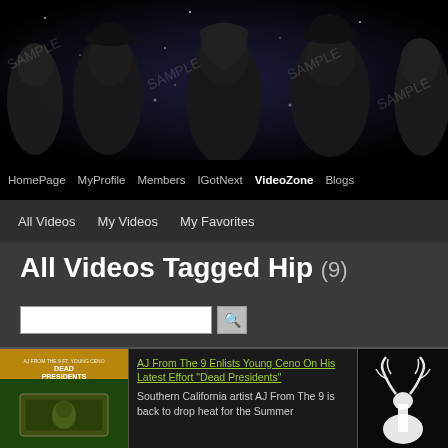[Figure (photo): Hip hop artists photo collage banner with starry background and SAMPLE watermarks]
HomePage  MyProfile  Members  IGotNext  VideoZone  Blogs
All Videos  My Videos  My Favorites
All Videos Tagged Hip (9)
[Figure (other): Search bar with text input and magnifying glass icon]
[Figure (photo): Album cover thumbnail - Dead Presidents by AJ From The 9 ft Young Ceno, golden and green tones with currency imagery]
AJ From The 9 Enlists Young Ceno On His Latest Effort "Dead Presidents"
Southern California artist AJ From The 9 is back to drop heat for the Summer
[Figure (photo): Dark image thumbnail with white antler/deer imagery]